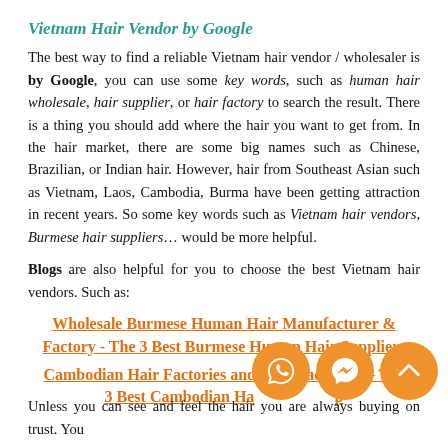Vietnam Hair Vendor by Google
The best way to find a reliable Vietnam hair vendor / wholesaler is by Google, you can use some key words, such as human hair wholesale, hair supplier, or hair factory to search the result. There is a thing you should add where the hair you want to get from. In the hair market, there are some big names such as Chinese, Brazilian, or Indian hair. However, hair from Southeast Asian such as Vietnam, Laos, Cambodia, Burma have been getting attraction in recent years. So some key words such as Vietnam hair vendors, Burmese hair suppliers… would be more helpful.
Blogs are also helpful for you to choose the best Vietnam hair vendors. Such as:
Wholesale Burmese Human Hair Manufacturer & Factory - The 3 Best Burmese Human Hair Suppliers
Cambodian Hair Factories and Manufacturers – Top 3 Best Cambodian Hair Suppliers
Unless you can see and feel the hair you are always buying on trust. You